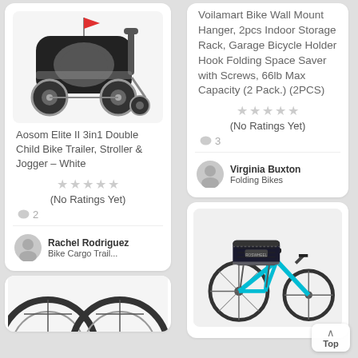[Figure (photo): Aosom Elite II 3in1 Double Child Bike Trailer in black and white/silver, shown as a stroller/jogger product photo]
Aosom Elite II 3in1 Double Child Bike Trailer, Stroller & Jogger – White
[Figure (other): 5 empty/grey star rating icons]
(No Ratings Yet)
💬 2
[Figure (other): Grey avatar icon for Rachel Rodriguez]
Rachel Rodriguez
Bike Cargo Trail...
[Figure (photo): Partial image of two bicycle wheels at the bottom of the page, cropped]
Voilamart Bike Wall Mount Hanger, 2pcs Indoor Storage Rack, Garage Bicycle Holder Hook Folding Space Saver with Screws, 66lb Max Capacity (2 Pack.) (2PCS)
[Figure (other): 5 empty/grey star rating icons]
(No Ratings Yet)
💬 3
[Figure (other): Grey avatar icon for Virginia Buxton]
Virginia Buxton
Folding Bikes
[Figure (photo): Blue bicycle with black rear rack bag/trunk bag mounted on carrier, product photo on white background]
Top